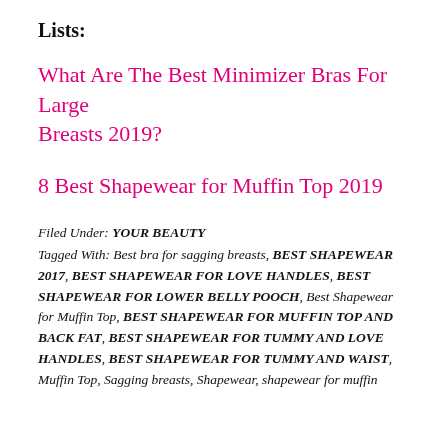Lists:
What Are The Best Minimizer Bras For Large Breasts 2019?
8 Best Shapewear for Muffin Top 2019
Filed Under: YOUR BEAUTY
Tagged With: Best bra for sagging breasts, BEST SHAPEWEAR 2017, BEST SHAPEWEAR FOR LOVE HANDLES, BEST SHAPEWEAR FOR LOWER BELLY POOCH, Best Shapewear for Muffin Top, BEST SHAPEWEAR FOR MUFFIN TOP AND BACK FAT, BEST SHAPEWEAR FOR TUMMY AND LOVE HANDLES, BEST SHAPEWEAR FOR TUMMY AND WAIST, Muffin Top, Sagging breasts, Shapewear, shapewear for muffin